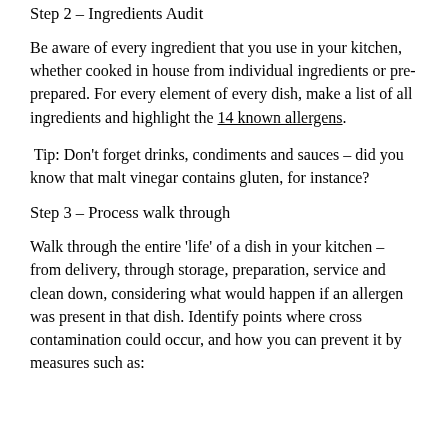Step 2 – Ingredients Audit
Be aware of every ingredient that you use in your kitchen, whether cooked in house from individual ingredients or pre-prepared. For every element of every dish, make a list of all ingredients and highlight the 14 known allergens.
Tip: Don't forget drinks, condiments and sauces – did you know that malt vinegar contains gluten, for instance?
Step 3 – Process walk through
Walk through the entire 'life' of a dish in your kitchen – from delivery, through storage, preparation, service and clean down, considering what would happen if an allergen was present in that dish. Identify points where cross contamination could occur, and how you can prevent it by measures such as: